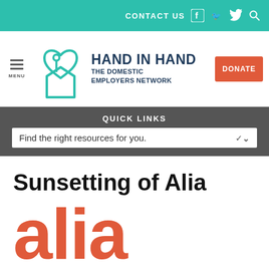CONTACT US
[Figure (logo): Hand in Hand The Domestic Employers Network logo with teal heart and house icon]
HAND IN HAND THE DOMESTIC EMPLOYERS NETWORK
DONATE
QUICK LINKS
Find the right resources for you.
Sunsetting of Alia
alia